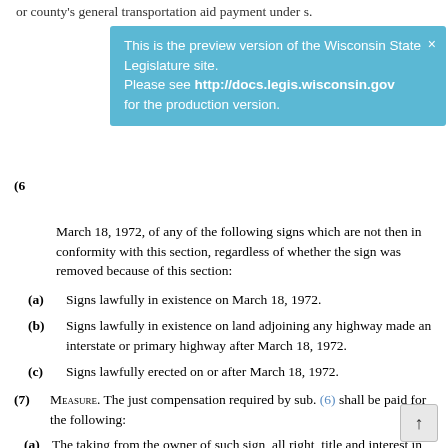or county's general transportation aid payment under s.
This is the preview version of the Wisconsin State Legislature site. Please see http://docs.legis.wisconsin.gov for the production version.
March 18, 1972, of any of the following signs which are not then in conformity with this section, regardless of whether the sign was removed because of this section:
(a) Signs lawfully in existence on March 18, 1972.
(b) Signs lawfully in existence on land adjoining any highway made an interstate or primary highway after March 18, 1972.
(c) Signs lawfully erected on or after March 18, 1972.
(7) MEASURE. The just compensation required by sub. (6) shall be paid for the following:
(a) The taking from the owner of such sign, all right, title and interest in and to the sign and the owner's leasehold relating thereto, including severance damages to the remaining signs which have a unity of use and ownership with the sign taken, shall be included in the amounts paid to the respective owner, excluding any damage to factories involved in manufacturing, erection, maintenance or servicing of any outdoor advertising signs or displays.